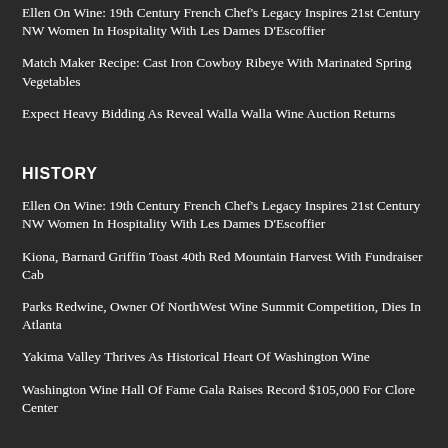Ellen On Wine: 19th Century French Chef’s Legacy Inspires 21st Century NW Women In Hospitality With Les Dames D’Escoffier
Match Maker Recipe: Cast Iron Cowboy Ribeye With Marinated Spring Vegetables
Expect Heavy Bidding As Reveal Walla Walla Wine Auction Returns
HISTORY
Ellen On Wine: 19th Century French Chef’s Legacy Inspires 21st Century NW Women In Hospitality With Les Dames D’Escoffier
Kiona, Barnard Griffin Toast 40th Red Mountain Harvest With Fundraiser Cab
Parks Redwine, Owner Of NorthWest Wine Summit Competition, Dies In Atlanta
Yakima Valley Thrives As Historical Heart Of Washington Wine
Washington Wine Hall Of Fame Gala Raises Record $105,000 For Clore Center